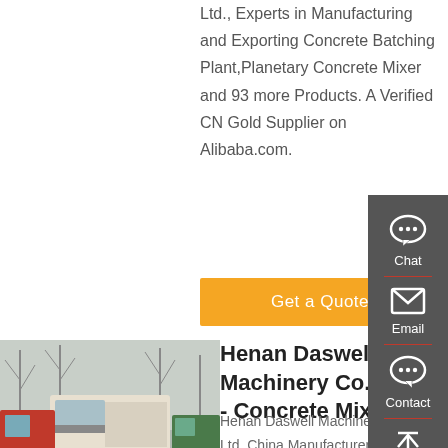Ltd., Experts in Manufacturing and Exporting Concrete Batching Plant,Planetary Concrete Mixer and 93 more Products. A Verified CN Gold Supplier on Alibaba.com.
Get a Quote
[Figure (photo): Trucks parked in an outdoor lot with bare trees in background]
Henan Daswell Machinery Co., Ltd. - Concrete Mixer
Henan Daswell Machinery Co., Ltd. China Manufacturer with main products:Concrete